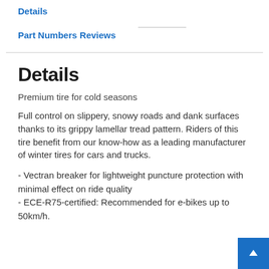Details
Part Numbers
Reviews
Details
Premium tire for cold seasons
Full control on slippery, snowy roads and dank surfaces thanks to its grippy lamellar tread pattern. Riders of this tire benefit from our know-how as a leading manufacturer of winter tires for cars and trucks.
- Vectran breaker for lightweight puncture protection with minimal effect on ride quality
- ECE-R75-certified: Recommended for e-bikes up to 50km/h.